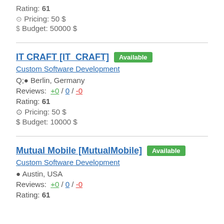Rating: 61
Pricing: 50 $
Budget: 50000 $
IT CRAFT [IT_CRAFT] Available
Custom Software Development
Berlin, Germany
Reviews: +0 / 0 / -0
Rating: 61
Pricing: 50 $
Budget: 10000 $
Mutual Mobile [MutualMobile] Available
Custom Software Development
Austin, USA
Reviews: +0 / 0 / -0
Rating: 61